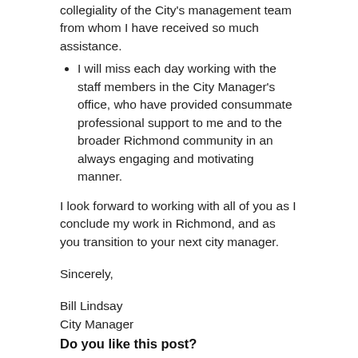collegiality of the City's management team from whom I have received so much assistance.
I will miss each day working with the staff members in the City Manager's office, who have provided consummate professional support to me and to the broader Richmond community in an always engaging and motivating manner.
I look forward to working with all of you as I conclude my work in Richmond, and as you transition to your next city manager.
Sincerely,
Bill Lindsay
City Manager
Do you like this post?